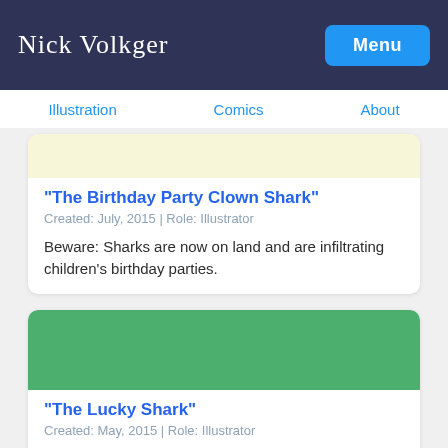Nick Volkert | Menu
Illustration | Comics | About
[Figure (illustration): Light yellow rectangular image placeholder]
"The Birthday Party Clown Shark"
Created: July, 2015 | Role: Illustrator
Beware: Sharks are now on land and are infiltrating children's birthday parties.
[Figure (illustration): Green rectangular image placeholder]
"The Lucky Shark"
Created: May, 2015 | Role: Illustrator
Beware: Sharks are now guarding pots of gold under